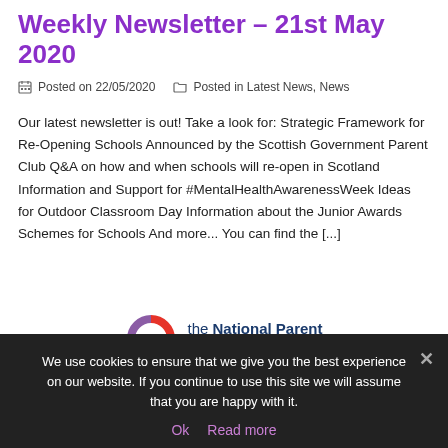Weekly Newsletter – 21st May 2020
Posted on 22/05/2020   Posted in Latest News, News
Our latest newsletter is out! Take a look for: Strategic Framework for Re-Opening Schools Announced by the Scottish Government Parent Club Q&A on how and when schools will re-open in Scotland Information and Support for #MentalHealthAwarenessWeek Ideas for Outdoor Classroom Day Information about the Junior Awards Schemes for Schools And more... You can find the [...]
[Figure (logo): The National Parent Forum of Scotland logo with a circular coloured ring icon and text 'the National Parent Forum of Scotland']
Scottish Government (partial, cut off)
We use cookies to ensure that we give you the best experience on our website. If you continue to use this site we will assume that you are happy with it.
Ok   Read more